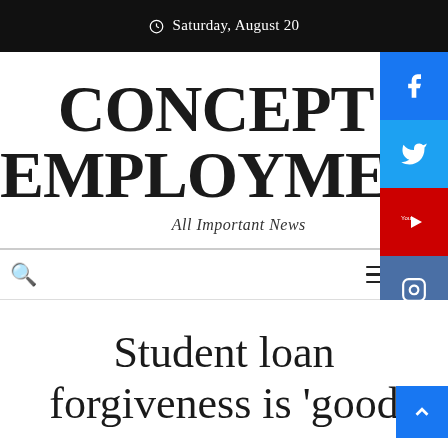Saturday, August 20
CONCEPT 2 EMPLOYMENT
All Important News
Student loan forgiveness is 'good